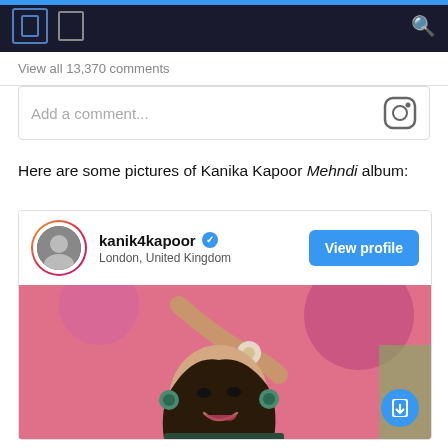View all 13,370 comments
Add a comment...
Here are some pictures of Kanika Kapoor Mehndi album:
[Figure (screenshot): Instagram profile card for kanik4kapoor, verified account, located in London, United Kingdom, with a View profile button and a photo of a woman smiling at a mehndi ceremony with pink decorations and floral jewelry]